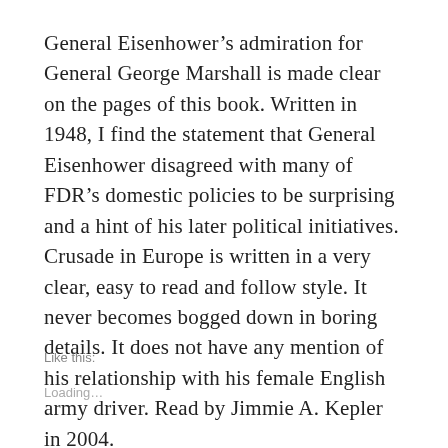General Eisenhower's admiration for General George Marshall is made clear on the pages of this book. Written in 1948, I find the statement that General Eisenhower disagreed with many of FDR's domestic policies to be surprising and a hint of his later political initiatives. Crusade in Europe is written in a very clear, easy to read and follow style. It never becomes bogged down in boring details. It does not have any mention of his relationship with his female English army driver. Read by Jimmie A. Kepler in 2004.
Like this:
Loading...